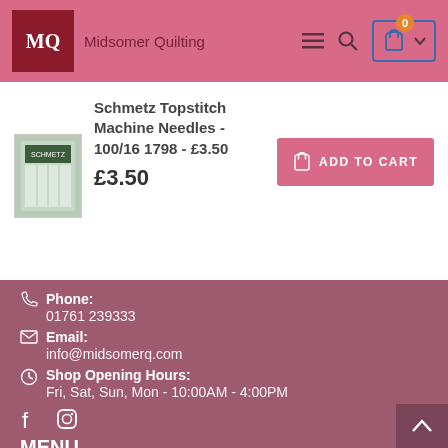Midsomer Quilting - Navigation Header
Schmetz Topstitch Machine Needles - 100/16 1798 - £3.50
£3.50
ADD TO CART
Phone: 01761 239333
Email: info@midsomerq.com
Shop Opening Hours: Fri, Sat, Sun, Mon - 10:00AM - 4:00PM
MENU
Search